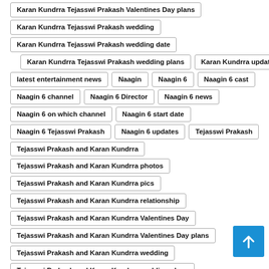Karan Kundrra Tejasswi Prakash Valentines Day plans
Karan Kundrra Tejasswi Prakash wedding
Karan Kundrra Tejasswi Prakash wedding date
Karan Kundrra Tejasswi Prakash wedding plans
Karan Kundrra update
latest entertainment news
Naagin
Naagin 6
Naagin 6 cast
Naagin 6 channel
Naagin 6 Director
Naagin 6 news
Naagin 6 on which channel
Naagin 6 start date
Naagin 6 Tejasswi Prakash
Naagin 6 updates
Tejasswi Prakash
Tejasswi Prakash and Karan Kundrra
Tejasswi Prakash and Karan Kundrra photos
Tejasswi Prakash and Karan Kundrra pics
Tejasswi Prakash and Karan Kundrra relationship
Tejasswi Prakash and Karan Kundrra Valentines Day
Tejasswi Prakash and Karan Kundrra Valentines Day plans
Tejasswi Prakash and Karan Kundrra wedding
Tejasswi Prakash and Karan Kundrra wedding plans
Tejasswi Prakash and Karan Kundrra...